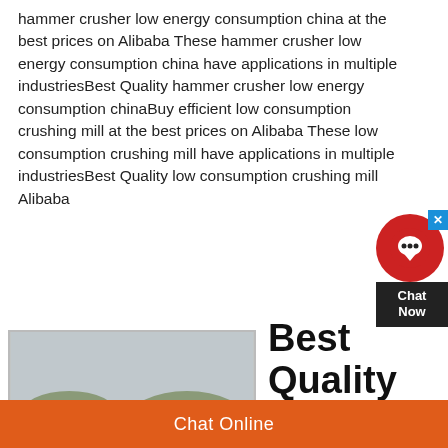hammer crusher low energy consumption china at the best prices on Alibaba These hammer crusher low energy consumption china have applications in multiple industriesBest Quality hammer crusher low energy consumption chinaBuy efficient low consumption crushing mill at the best prices on Alibaba These low consumption crushing mill have applications in multiple industriesBest Quality low consumption crushing mill Alibaba
[Figure (photo): Industrial equipment - a low energy hammer crusher machine on a construction/mining site. Watermark reads 'Minevik'.]
Best Quality low energy hammer crusher
Chat Online